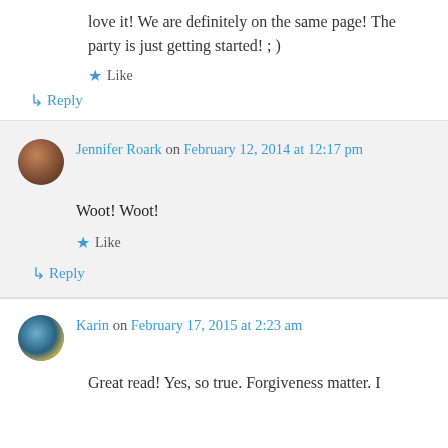love it! We are definitely on the same page! The party is just getting started! ; )
★ Like
↳ Reply
Jennifer Roark on February 12, 2014 at 12:17 pm
Woot! Woot!
★ Like
↳ Reply
Karin on February 17, 2015 at 2:23 am
Great read! Yes, so true. Forgiveness matter. I